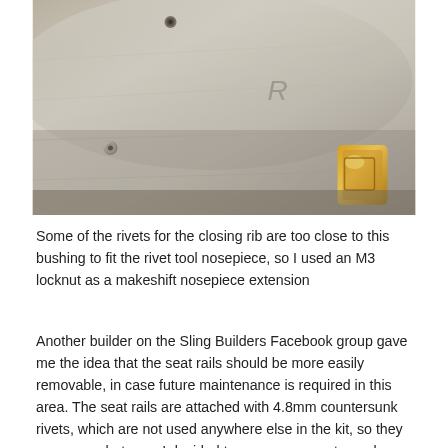[Figure (photo): Close-up photo of aircraft wing skin showing countersunk rivets and a gold/brass colored bushing fitting. The metallic surface is silver/aluminum colored.]
Some of the rivets for the closing rib are too close to this bushing to fit the rivet tool nosepiece, so I used an M3 locknut as a makeshift nosepiece extension
Another builder on the Sling Builders Facebook group gave me the idea that the seat rails should be more easily removable, in case future maintenance is required in this area. The seat rails are attached with 4.8mm countersunk rivets, which are not used anywhere else in the kit, so they are somewhat rare. I decided to use swap countersunk screws for the countersunk rivets. Of course, the screws need to attach to something... I was able to use locknuts for the forward portion of the seat rails, but for the portion that attaches to the spar cap of the wing spar carry-through assembly (CE-AMS-001-C-